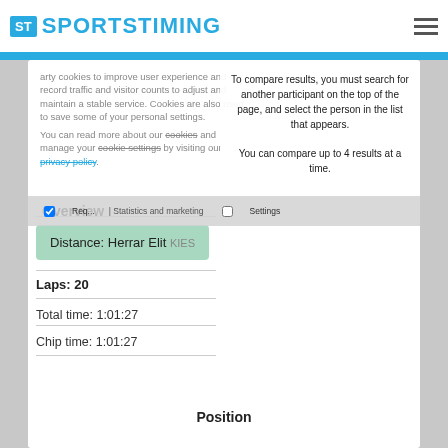ST SPORTSTIMING
arty cookies to improve user experience and record traffic and visitor counts to adjust and maintain a stable service. Cookies are also used to save some of your personal settings.
You can read more about our cookies and manage your cookie settings by visiting our privacy policy.
To compare results, you must search for another participant on the top of the page, and select the person in the list that appears.
You can compare up to 4 results at a time.
Overview
Distance: Herrar Elit
Laps: 20
Required | Statistics and marketing | Settings
Total time: 1:01:27
Chip time: 1:01:27
Position